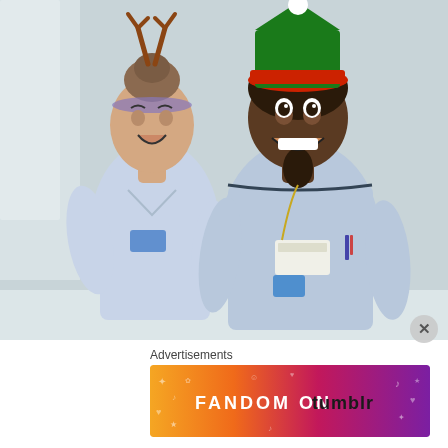[Figure (photo): Two female nurses in light blue NHS uniforms laughing and posing together. The nurse on the left is a white woman wearing reindeer antlers on her head. The nurse on the right is a Black woman wearing a green and red elf Christmas hat. Both are smiling broadly and appear to be having fun. They are standing against a light grey/white wall.]
Advertisements
[Figure (illustration): Tumblr advertisement banner with gradient background from orange/yellow on the left to purple on the right, featuring the text 'FANDOM ON tumblr' in bold white and black letters, with decorative doodle icons (music notes, hearts, stars, etc.) scattered across the banner.]